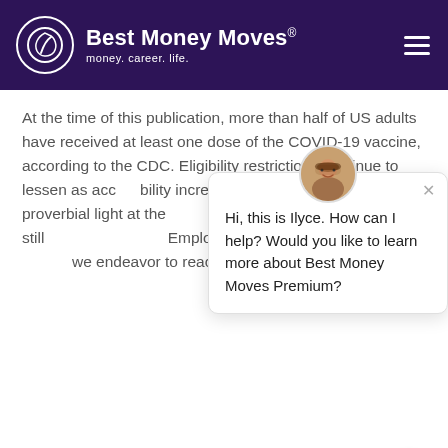Best Money Moves® money. career. life.
At the time of this publication, more than half of US adults have received at least one dose of the COVID-19 vaccine, according to the CDC. Eligibility restrictions continue to lessen as accessibility increases. There is a general proverbial light at the end of the tunnel. That said, there is still Employers can be an important part of we endeavor to reach
[Figure (screenshot): Chat popup with avatar photo of Ilyce, showing message: 'Hi, this is Ilyce. How can I help? Would you like to learn more about Best Money Moves Premium?']
Mandate Debate
While the health benefits of the COVID-19 vaccine are